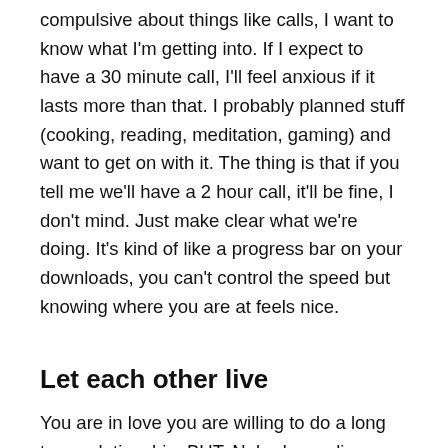compulsive about things like calls, I want to know what I'm getting into. If I expect to have a 30 minute call, I'll feel anxious if it lasts more than that. I probably planned stuff (cooking, reading, meditation, gaming) and want to get on with it. The thing is that if you tell me we'll have a 2 hour call, it'll be fine, I don't mind. Just make clear what we're doing. It's kind of like a progress bar on your downloads, you can't control the speed but knowing where you are at feels nice.
Let each other live
You are in love you are willing to do a long term relationship. BUT. Nobody can live somewhere and not have an everyday life. You have work/school, you have friends (or you want to have one), you want them to not...